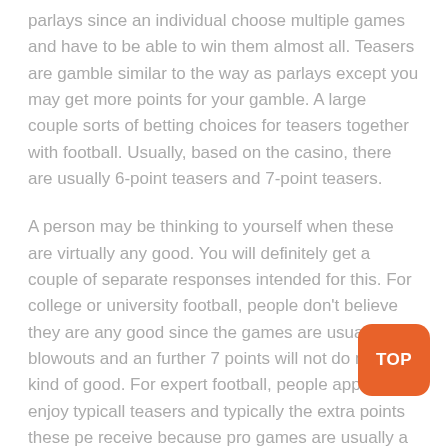parlays since an individual choose multiple games and have to be able to win them almost all. Teasers are gamble similar to the way as parlays except you may get more points for your gamble. A large couple sorts of betting choices for teasers together with football. Usually, based on the casino, there are usually 6-point teasers and 7-point teasers.
A person may be thinking to yourself when these are virtually any good. You will definitely get a couple of separate responses intended for this. For college or university football, people don't believe they are any good since the games are usually blowouts and an further 7 points will not do me any kind of good. For expert football, people appear to enjoy typically teasers and typically the extra points these pe receive because pro games are usually a bit closer.
ere is an example of a teaser bet: Say an individual